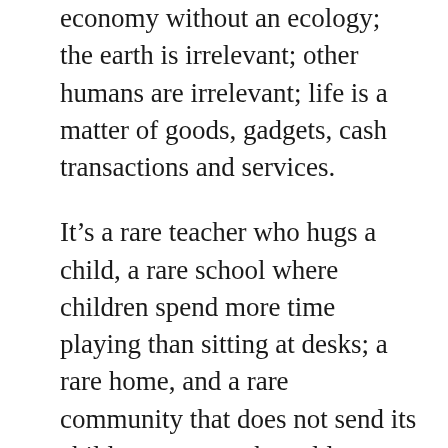economy without an ecology; the earth is irrelevant; other humans are irrelevant; life is a matter of goods, gadgets, cash transactions and services.
It’s a rare teacher who hugs a child, a rare school where children spend more time playing than sitting at desks; a rare home, and a rare community that does not send its children away to the cold vigilant ‘care’ of ever-distant adults of varying backgrounds and temperaments, teaching ever-distant things, for the sake of progress and human betterment.
This sending away, for many children,